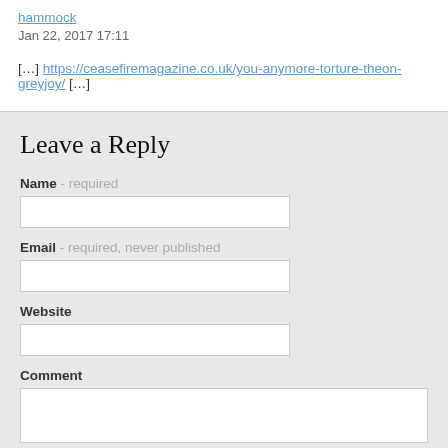hammock
Jan 22, 2017 17:11
[…] https://ceasefiremagazine.co.uk/you-anymore-torture-theon-greyjoy/ […]
Leave a Reply
Name - required
Email - required, never published
Website
Comment